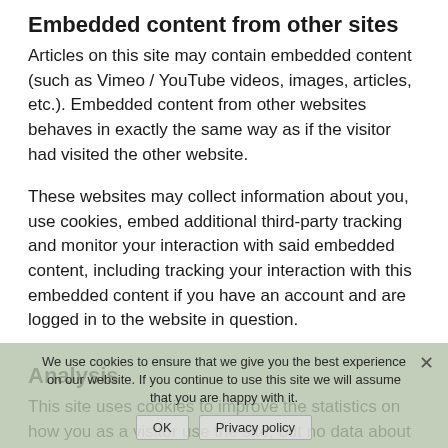Embedded content from other sites
Articles on this site may contain embedded content (such as Vimeo / YouTube videos, images, articles, etc.). Embedded content from other websites behaves in exactly the same way as if the visitor had visited the other website.
These websites may collect information about you, use cookies, embed additional third-party tracking and monitor your interaction with said embedded content, including tracking your interaction with this embedded content if you have an account and are logged in to the website in question.
Analysis
This site uses cookies to improve the statistics on how you as a visitor use the site, but no data about you as a person is stored in connection with this. The site uses Google's Analytics service to analyze visitor data. Google's policy regarding the management of your
We use cookies to ensure that we give you the best experience on our website. If you continue to use this site we will assume that you are happy with it.